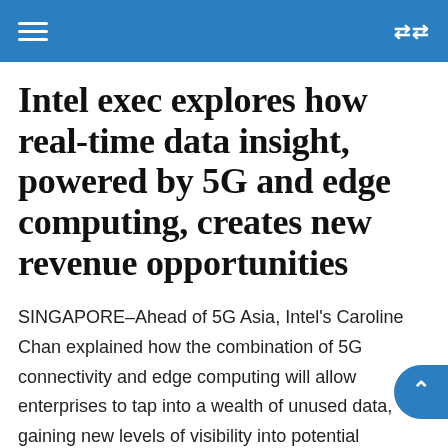Intel exec explores how real-time data insight, powered by 5G and edge computing, creates new revenue opportunities
SINGAPORE–Ahead of 5G Asia, Intel's Caroline Chan explained how the combination of 5G connectivity and edge computing will allow enterprises to tap into a wealth of unused data, gaining new levels of visibility into potential revenue-generating processes.
Chan, vice president and general manager of the 5G